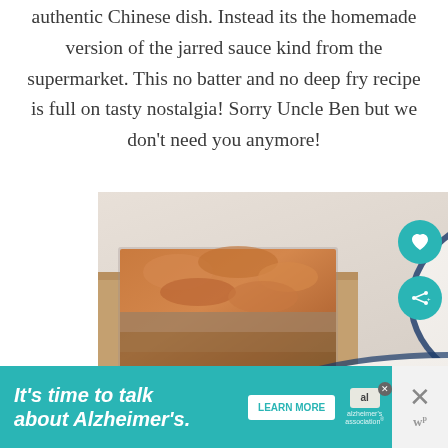authentic Chinese dish. Instead its the homemade version of the jarred sauce kind from the supermarket. This no batter and no deep fry recipe is full on tasty nostalgia! Sorry Uncle Ben but we don't need you anymore!
[Figure (photo): Food photo showing a baked casserole dish with golden-brown cheesy topping and plates with a slice served alongside vegetables including potatoes and carrots]
[Figure (infographic): Advertisement banner: teal background with text 'It's time to talk about Alzheimer's.' with a LEARN MORE button and Alzheimer's Association logo with a close (X) button]